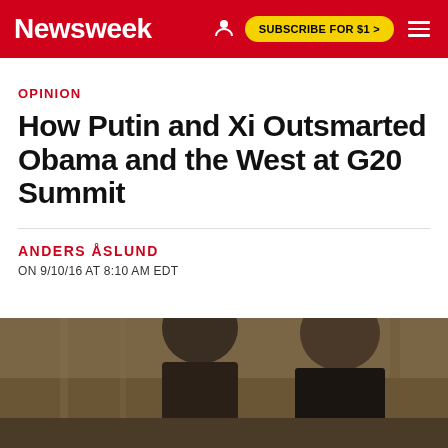Newsweek  SUBSCRIBE FOR $1 >
OPINION
How Putin and Xi Outsmarted Obama and the West at G20 Summit
ANDERS ÅSLUND
ON 9/10/16 AT 8:10 AM EDT
[Figure (photo): Photo of a man (presumably Obama) in a dark suit, partially visible from shoulders up, in an indoor setting]